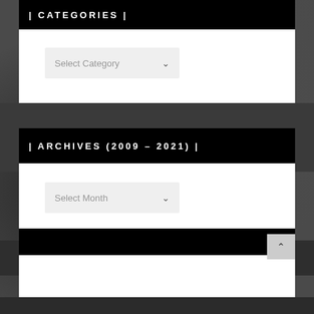| CATEGORIES |
Select Category
| ARCHIVES (2009 – 2021) |
Select Month